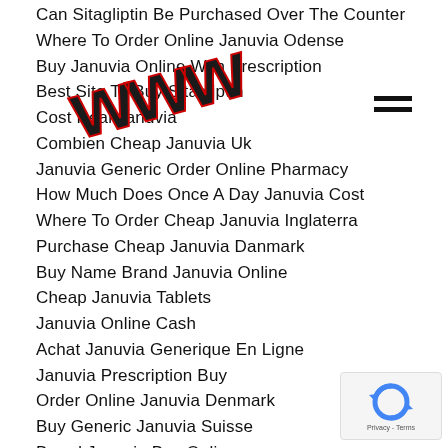Can Sitagliptin Be Purchased Over The Counter
Where To Order Online Januvia Odense
Buy Januvia Online With Prescription
Best Site To Buy Sitagliptin
Cost Real Januvia
Combien Cheap Januvia Uk
Januvia Generic Order Online Pharmacy
How Much Does Once A Day Januvia Cost
Where To Order Cheap Januvia Inglaterra
Purchase Cheap Januvia Danmark
Buy Name Brand Januvia Online
Cheap Januvia Tablets
Januvia Online Cash
Achat Januvia Generique En Ligne
Januvia Prescription Buy
Order Online Januvia Denmark
Buy Generic Januvia Suisse
Brand Januvia Buy Online
[Figure (logo): Bold distorted 'www' watermark/stamp overlaid on the page in black and red]
[Figure (other): Hamburger menu icon (three horizontal lines) in upper right area]
[Figure (other): reCAPTCHA badge in lower right corner with circular arrow icon and Privacy - Terms text]